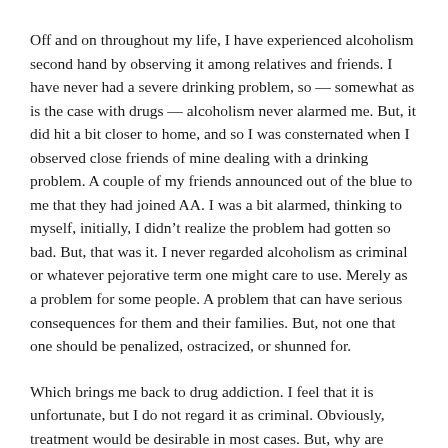Off and on throughout my life, I have experienced alcoholism second hand by observing it among relatives and friends. I have never had a severe drinking problem, so — somewhat as is the case with drugs — alcoholism never alarmed me. But, it did hit a bit closer to home, and so I was consternated when I observed close friends of mine dealing with a drinking problem. A couple of my friends announced out of the blue to me that they had joined AA. I was a bit alarmed, thinking to myself, initially, I didn't realize the problem had gotten so bad. But, that was it. I never regarded alcoholism as criminal or whatever pejorative term one might care to use. Merely as a problem for some people. A problem that can have serious consequences for them and their families. But, not one that one should be penalized, ostracized, or shunned for.
Which brings me back to drug addiction. I feel that it is unfortunate, but I do not regard it as criminal. Obviously, treatment would be desirable in most cases. But, why are